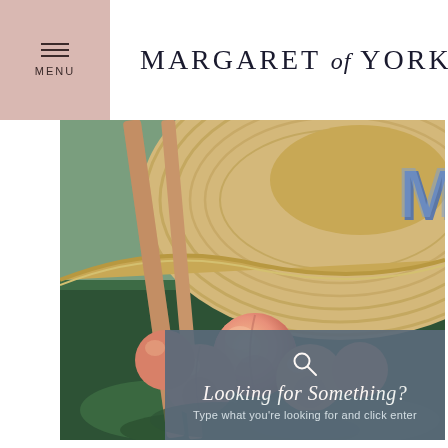MENU
MARGARET of YORK
[Figure (photo): Close-up photograph of peaches on green grass under a straw hat with blue MY monogram letters, with tan leather bag straps visible]
Looking for Something?
Type what you're looking for and click enter